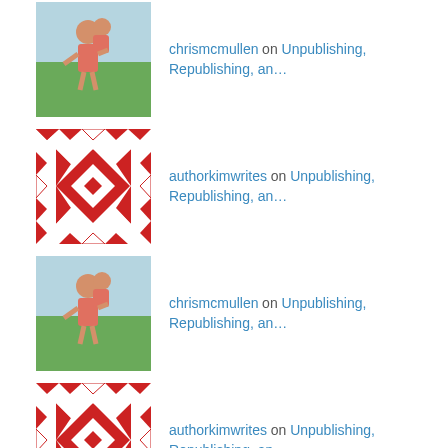chrismcmullen on Unpublishing, Republishing, an…
authorkimwrites on Unpublishing, Republishing, an…
chrismcmullen on Unpublishing, Republishing, an…
authorkimwrites on Unpublishing, Republishing, an…
chrismcmullen on Unpublishing, Republishing, an…
Calendar of Posts
| M | T | W | T | F | S | S |
| --- | --- | --- | --- | --- | --- | --- |
| 1 | 2 | 3 | 4 | 5 | 6 | 7 |